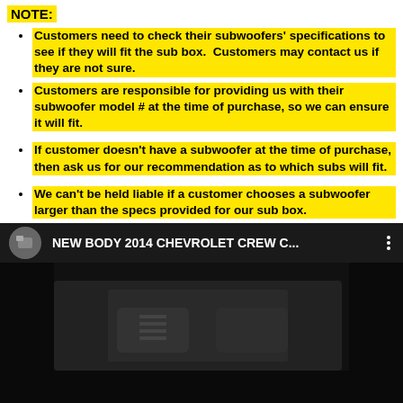NOTE:
Customers need to check their subwoofers' specifications to see if they will fit the sub box.  Customers may contact us if they are not sure.
Customers are responsible for providing us with their subwoofer model # at the time of purchase, so we can ensure it will fit.
If customer doesn't have a subwoofer at the time of purchase, then ask us for our recommendation as to which subs will fit.
We can't be held liable if a customer chooses a subwoofer larger than the specs provided for our sub box.
[Figure (screenshot): YouTube-style video thumbnail showing a dark interior of a vehicle (Chevrolet truck), with a video title bar reading 'NEW BODY 2014 CHEVROLET CREW C...' and a play button in the center.]